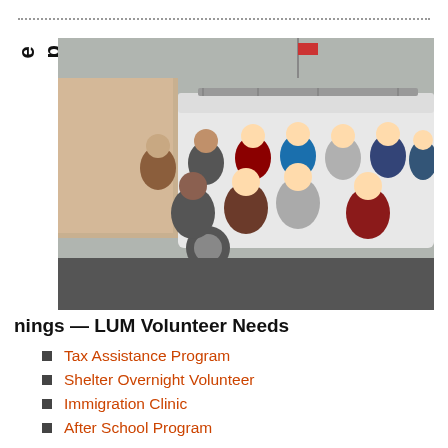[Figure (photo): Group photo of approximately 13 volunteers standing and kneeling in front of a white van in a parking lot outdoors.]
Immediate Openings — LUM Volunteer Needs
Tax Assistance Program
Shelter Overnight Volunteer
Immigration Clinic
After School Program